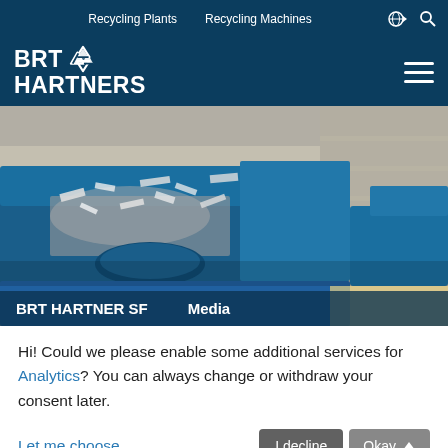Recycling Plants   Recycling Machines
[Figure (logo): BRT HARTNERS logo with recycling triangle icon on dark blue background, with hamburger menu icon on the right]
[Figure (photo): Industrial recycling machine in blue color shredding materials inside a warehouse, with caption bar showing BRT HARTNER SF and Media]
Hi! Could we please enable some additional services for Analytics? You can always change or withdraw your consent later.
Let me choose...
I decline   Okay